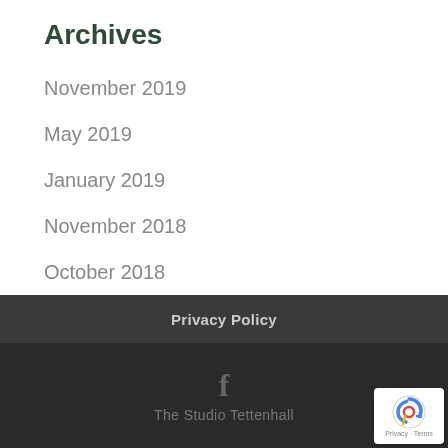Archives
November 2019
May 2019
January 2019
November 2018
October 2018
Privacy Policy
The Studio Tettenhall